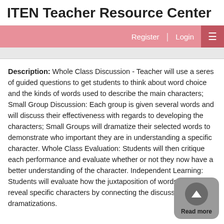ITEN Teacher Resource Center
Description: Whole Class Discussion - Teacher will use a seres of guided questions to get students to think about word choice and the kinds of words used to describe the main characters; Small Group Discussion: Each group is given several words and will discuss their effectiveness with regards to developing the characters; Small Groups will dramatize their selected words to demonstrate who important they are in understanding a specific character. Whole Class Evaluation: Students will then critique each performance and evaluate whether or not they now have a better understanding of the character. Independent Learning: Students will evaluate how the juxtaposition of words help to reveal specific characters by connecting the discussions and dramatizations.